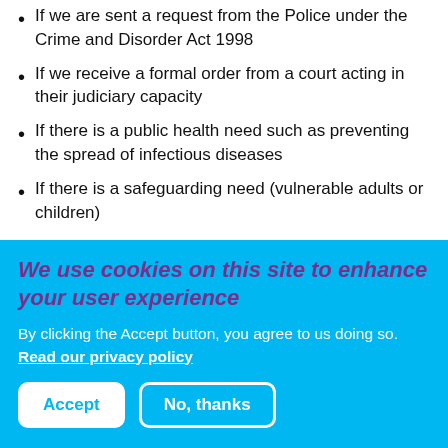If we are sent a request from the Police under the Crime and Disorder Act 1998
If we receive a formal order from a court acting in their judiciary capacity
If there is a public health need such as preventing the spread of infectious diseases
If there is a safeguarding need (vulnerable adults or children)
How do we process your
We use cookies on this site to enhance your user experience
By clicking the Accept button, you agree to us doing so. Read our privacy policy